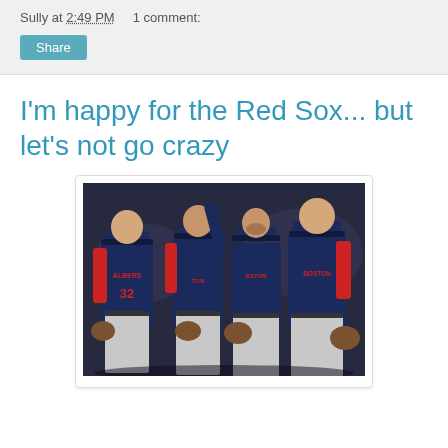Sully at 2:49 PM    1 comment:
Share
I'm happy for the Red Sox... but let's not go crazy
[Figure (photo): Boston Red Sox players in navy blue uniforms celebrating, high-fiving each other after a game. Player #32 ALBERS visible on the left. Multiple players in Boston uniforms.]